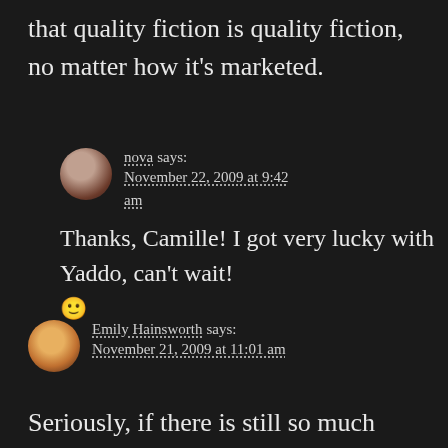that quality fiction is quality fiction, no matter how it's marketed.
nova says: November 22, 2009 at 9:42 am
Thanks, Camille! I got very lucky with Yaddo, can't wait! 🙂
Emily Hainsworth says: November 21, 2009 at 11:01 am
Seriously, if there is still so much